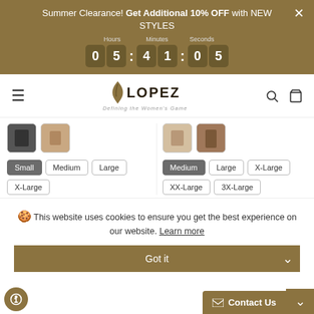Summer Clearance! Get Additional 10% OFF with NEW STYLES — Timer: 05:41:05
[Figure (logo): LOPEZ brand logo with leaf icon and tagline 'Defining the Women's Game']
[Figure (photo): Product thumbnails showing clothing items in dark and light colors, with size selection buttons: Small (selected), Medium, Large, X-Large on left; Medium (selected), Large, X-Large, XX-Large, 3X-Large on right]
This website uses cookies to ensure you get the best experience on our website. Learn more
Got it